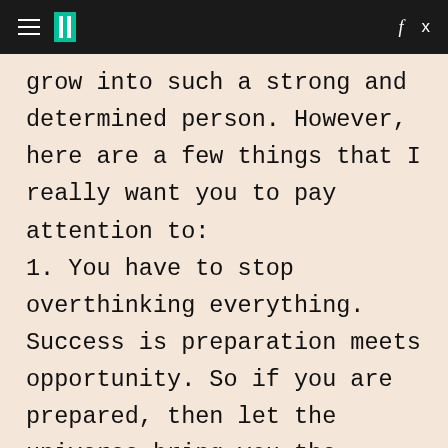HuffPost (navigation bar with hamburger menu, logo, social icons f and bird)
grow into such a strong and determined person. However, here are a few things that I really want you to pay attention to:
1. You have to stop overthinking everything. Success is preparation meets opportunity. So if you are prepared, then let the universe bring you the opportunity.